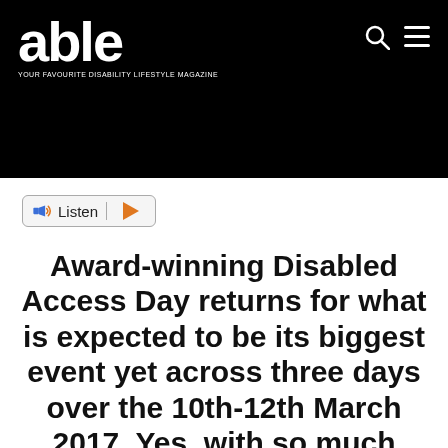[Figure (logo): Able Magazine logo — white text 'able' on black background with tagline 'YOUR FAVOURITE DISABILITY LIFESTYLE MAGAZINE'. Search and hamburger menu icons top right.]
[Figure (other): Listen button widget with speaker icon and orange play triangle]
Award-winning Disabled Access Day returns for what is expected to be its biggest event yet across three days over the 10th-12th March 2017. Yes, with so much